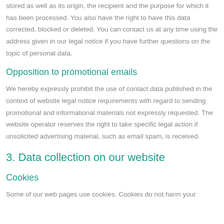stored as well as its origin, the recipient and the purpose for which it has been processed. You also have the right to have this data corrected, blocked or deleted. You can contact us at any time using the address given in our legal notice if you have further questions on the topic of personal data.
Opposition to promotional emails
We hereby expressly prohibit the use of contact data published in the context of website legal notice requirements with regard to sending promotional and informational materials not expressly requested. The website operator reserves the right to take specific legal action if unsolicited advertising material, such as email spam, is received.
3. Data collection on our website
Cookies
Some of our web pages use cookies. Cookies do not harm your